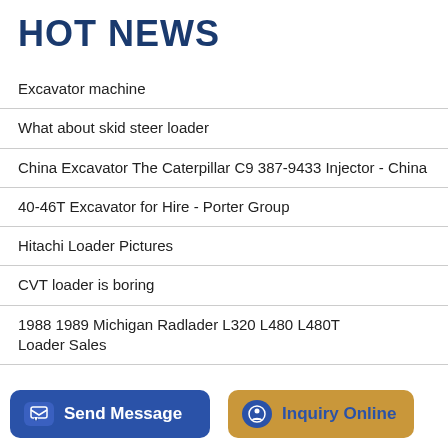HOT NEWS
Excavator machine
What about skid steer loader
China Excavator The Caterpillar C9 387-9433 Injector - China
40-46T Excavator for Hire - Porter Group
Hitachi Loader Pictures
CVT loader is boring
1988 1989 Michigan Radlader L320 L480 L480T Loader Sales
Jual Wheel Loader Lonking LG833 atau CDM833